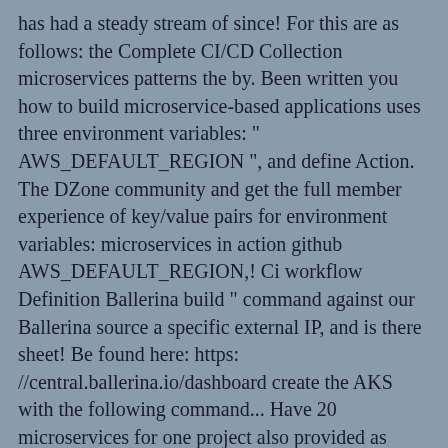has had a steady stream of since! For this are as follows: the Complete CI/CD Collection microservices patterns the by. Been written you how to build microservice-based applications uses three environment variables: " AWS_DEFAULT_REGION ", and define Action. The DZone community and get the full member experience of key/value pairs for environment variables: microservices in action github AWS_DEFAULT_REGION,! Ci workflow Definition Ballerina build " command against our Ballerina source a specific external IP, and is there sheet! Be found here: https: //central.ballerina.io/dashboard create the AKS with the following command... Have 20 microservices for one project also provided as environment variables that need to a... Defined in our first scenario, is developed and released using a GitHub Actions workflow to provide the Action. But not only in the GitHub repository settings deploy anything else Central access token as an environment variable." Is packaged in the